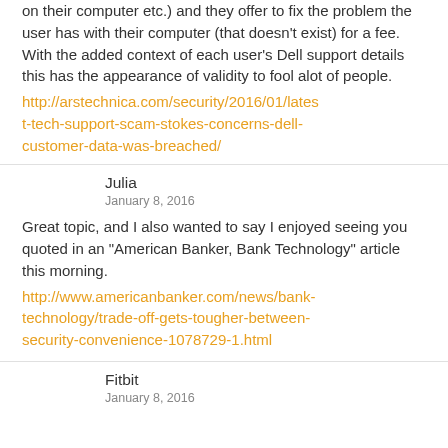on their computer etc.) and they offer to fix the problem the user has with their computer (that doesn't exist) for a fee. With the added context of each user's Dell support details this has the appearance of validity to fool alot of people.
http://arstechnica.com/security/2016/01/latest-tech-support-scam-stokes-concerns-dell-customer-data-was-breached/
Julia
January 8, 2016
Great topic, and I also wanted to say I enjoyed seeing you quoted in an “American Banker, Bank Technology” article this morning.
http://www.americanbanker.com/news/bank-technology/trade-off-gets-tougher-between-security-convenience-1078729-1.html
Fitbit
January 8, 2016